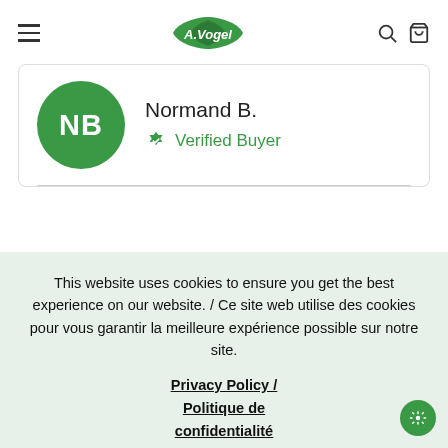[Figure (logo): A.Vogel green leaf logo in navigation bar]
Normand B.
Verified Buyer
This website uses cookies to ensure you get the best experience on our website. / Ce site web utilise des cookies pour vous garantir la meilleure expérience possible sur notre site.
Privacy Policy / Politique de confidentialité
Dismiss / Rejeter
Preferences
OK